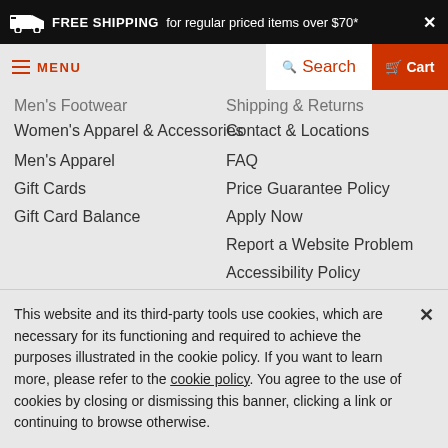FREE SHIPPING for regular priced items over $70*
MENU | Search | Cart
Men's Footwear
Women's Apparel & Accessories
Men's Apparel
Gift Cards
Gift Card Balance
Shipping & Returns
Contact & Locations
FAQ
Price Guarantee Policy
Apply Now
Report a Website Problem
Accessibility Policy
Social Media
Never Miss a Deal
This website and its third-party tools use cookies, which are necessary for its functioning and required to achieve the purposes illustrated in the cookie policy. If you want to learn more, please refer to the cookie policy. You agree to the use of cookies by closing or dismissing this banner, clicking a link or continuing to browse otherwise.